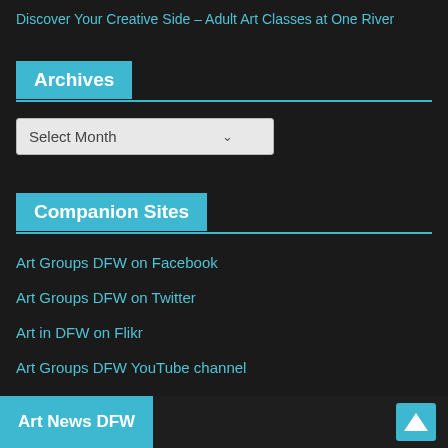Discover Your Creative Side – Adult Art Classes at One River
Archives
Select Month
Companion Sites
Art Groups DFW on Facebook
Art Groups DFW on Twitter
Art in DFW on Flikr
Art Groups DFW YouTube channel
Art News DFW